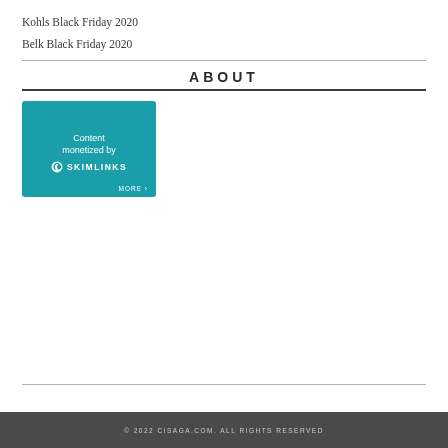Kohls Black Friday 2020
Belk Black Friday 2020
ABOUT
[Figure (logo): Skimlinks badge: 'Content monetized by SKIMLINKS MORE >' on teal background]
© 2022 CISAGA.COM. ALL RIGHTS RESERVED